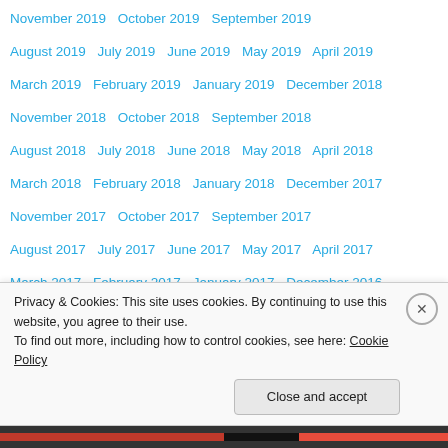November 2019   October 2019   September 2019
August 2019   July 2019   June 2019   May 2019   April 2019
March 2019   February 2019   January 2019   December 2018
November 2018   October 2018   September 2018
August 2018   July 2018   June 2018   May 2018   April 2018
March 2018   February 2018   January 2018   December 2017
November 2017   October 2017   September 2017
August 2017   July 2017   June 2017   May 2017   April 2017
March 2017   February 2017   January 2017   December 2016
November 2016   October 2016   September 2016
August 2016   July 2016   June 2016   May 2016   April 2016
March 2016   February 2016   January 2016   December 2015
Privacy & Cookies: This site uses cookies. By continuing to use this website, you agree to their use. To find out more, including how to control cookies, see here: Cookie Policy